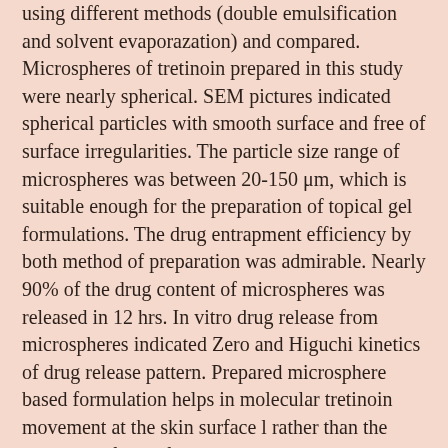using different methods (double emulsification and solvent evaporazation) and compared. Microspheres of tretinoin prepared in this study were nearly spherical. SEM pictures indicated spherical particles with smooth surface and free of surface irregularities. The particle size range of microspheres was between 20-150 μm, which is suitable enough for the preparation of topical gel formulations. The drug entrapment efficiency by both method of preparation was admirable. Nearly 90% of the drug content of microspheres was released in 12 hrs. In vitro drug release from microspheres indicated Zero and Higuchi kinetics of drug release pattern. Prepared microsphere based formulation helps in molecular tretinoin movement at the skin surface l rather than the crystalline form of tretinoin, which may cause irritation and other skin disorders. Side effects of tretinoin are reduced dramatically when it is applied as microbased formulation which also adds in faster absorprion of drug via skin surface. Microsperes also helps